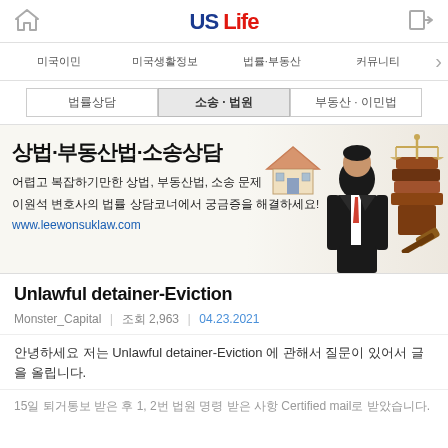US Life
내비게이션 메뉴 항목들
서브 메뉴: 소송·부동산
[Figure (photo): 상법·부동산법·소송상담 배너 이미지 - 변호사 사진과 법률 서적, 저울 이미지 포함. 텍스트: 어렵고 복잡하기만한 상법, 부동산법, 소송 문제 이원석 변호사의 법률 상담코너에서 궁금증을 해결하세요! www.leewonsuklaw.com]
Unlawful detainer-Eviction
Monster_Capital  |  조회 2,963  |  04.23.2021
안녕하세요 저는 Unlawful detainer-Eviction 에 관해서 질문이 있어서 글을 올립니다.
15일 퇴거통보 받은 후 1, 2번 법원 명령 받은 사항  Certified mail로 받았습니다.